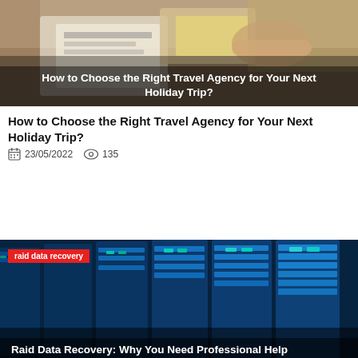[Figure (photo): Thumbnail photo of hands handling travel documents/money with overlay title 'How to Choose the Right Travel Agency for Your Next Holiday Trip?']
How to Choose the Right Travel Agency for Your Next Holiday Trip?
23/05/2022   135
[Figure (photo): Thumbnail photo of server/RAID drives glowing blue with category tag 'raid data recovery' and overlay title 'Raid Data Recovery: Why You Need Professional Help']
Raid Data Recovery: Why You Need Professional Help
28/04/2022   197